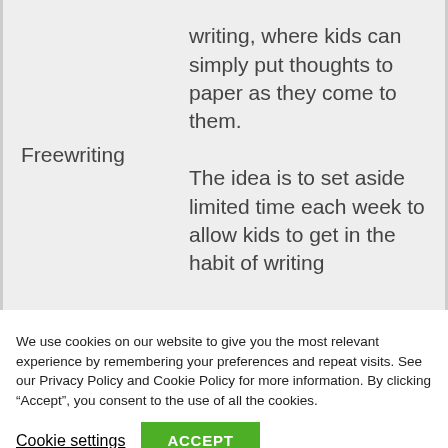| Freewriting | writing, where kids can simply put thoughts to paper as they come to them.
The idea is to set aside limited time each week to allow kids to get in the habit of writing |
We use cookies on our website to give you the most relevant experience by remembering your preferences and repeat visits. See our Privacy Policy and Cookie Policy for more information. By clicking “Accept”, you consent to the use of all the cookies.
Cookie settings
ACCEPT